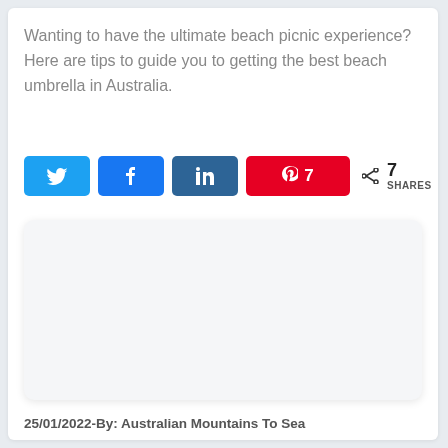Wanting to have the ultimate beach picnic experience? Here are tips to guide you to getting the best beach umbrella in Australia.
[Figure (infographic): Social sharing buttons row: Twitter (blue), Facebook (blue), LinkedIn (dark blue), Pinterest (red with count 7), and share count showing 7 SHARES]
[Figure (other): Empty white advertisement or image placeholder box with rounded corners and light shadow]
25/01/2022-By: Australian Mountains To Sea